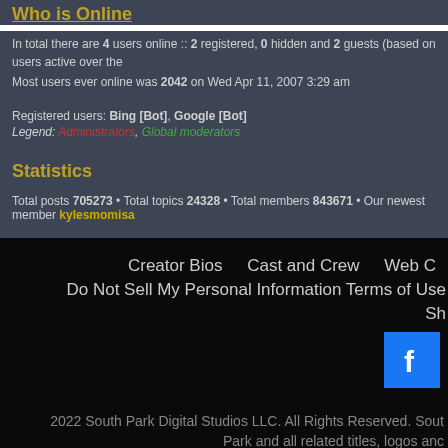Who is Online
In total there are 4 users online :: 2 registered, 0 hidden and 2 guests (based on users active over the past 5 minutes)
Most users ever online was 2042 on Wed Apr 11, 2007 3:29 am
Registered users: Bing [Bot], Google [Bot]
Legend: Administrators, Global moderators
Statistics
Total posts 705273 • Total topics 24328 • Total members 843671 • Our newest member kylesmomisa
Creator Bios   Cast and Crew   Web C...
Do Not Sell My Personal Information   Terms of Use
Sh...
2022 South Park Digital Studios LLC. All Rights Reserved. South Park and all related titles, logos anc...